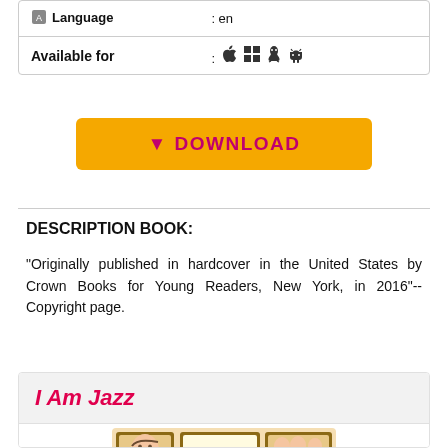|  |  |
| --- | --- |
| Language | : en |
| Available for | : 🍎 ⊞ 🐧 🤖 |
[Figure (other): Yellow download button with pink text and download icon reading DOWNLOAD]
DESCRIPTION BOOK:
"Originally published in hardcover in the United States by Crown Books for Young Readers, New York, in 2016"--Copyright page.
I Am Jazz
[Figure (illustration): Book cover of 'I Am Jazz' showing a child's face and family photos arranged in a collage style with the title in large purple letters]